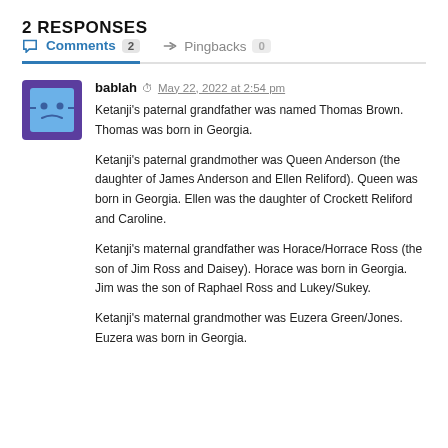2 RESPONSES
Comments 2   Pingbacks 0
bablah  May 22, 2022 at 2:54 pm

Ketanji's paternal grandfather was named Thomas Brown. Thomas was born in Georgia.

Ketanji's paternal grandmother was Queen Anderson (the daughter of James Anderson and Ellen Reliford). Queen was born in Georgia. Ellen was the daughter of Crockett Reliford and Caroline.

Ketanji's maternal grandfather was Horace/Horrace Ross (the son of Jim Ross and Daisey). Horace was born in Georgia. Jim was the son of Raphael Ross and Lukey/Sukey.

Ketanji's maternal grandmother was Euzera Green/Jones. Euzera was born in Georgia.